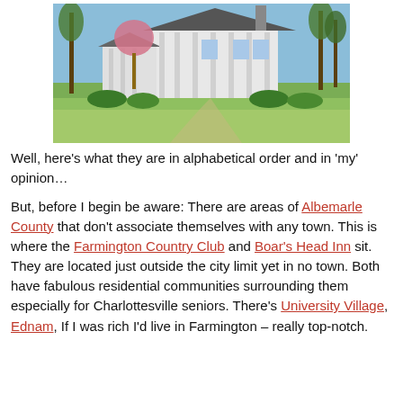[Figure (photo): Photograph of a large white colonial-style house with green lawn in foreground, trees surrounding, pink flowering tree visible, blue sky background.]
Well, here's what they are in alphabetical order and in 'my' opinion…
But, before I begin be aware: There are areas of Albemarle County that don't associate themselves with any town. This is where the Farmington Country Club and Boar's Head Inn sit. They are located just outside the city limit yet in no town. Both have fabulous residential communities surrounding them especially for Charlottesville seniors. There's University Village, Ednam, If I was rich I'd live in Farmington – really top-notch.